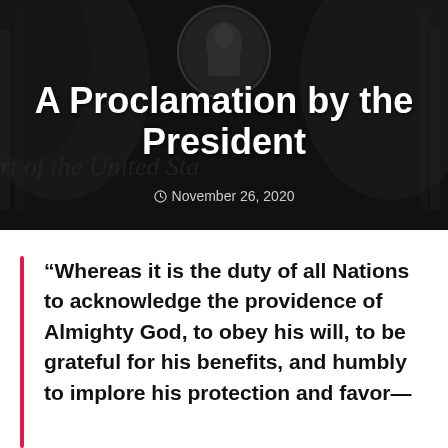[Figure (illustration): Dark sepia-toned decorative background showing a portrait medallion of George Washington surrounded by ornate drapery and patriotic imagery, with cursive text 'of the United States' visible in the background]
A Proclamation by the President
November 26, 2020
“Whereas it is the duty of all Nations to acknowledge the providence of Almighty God, to obey his will, to be grateful for his benefits, and humbly to implore his protection and favor—